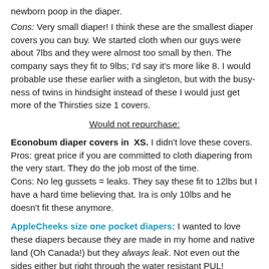newborn poop in the diaper.
Cons: Very small diaper! I think these are the smallest diaper covers you can buy. We started cloth when our guys were about 7lbs and they were almost too small by then. The company says they fit to 9lbs; I'd say it's more like 8. I would probable use these earlier with a singleton, but with the busy-ness of twins in hindsight instead of these I would just get more of the Thirsties size 1 covers.
Would not repurchase:
Econobum diaper covers in XS. I didn't love these covers. Pros: great price if you are committed to cloth diapering from the very start. They do the job most of the time. Cons: No leg gussets = leaks. They say these fit to 12lbs but I have a hard time believing that. Ira is only 10lbs and he doesn't fit these anymore.
AppleCheeks size one pocket diapers: I wanted to love these diapers because they are made in my home and native land (Oh Canada!) but they always leak. Not even out the sides either but right through the water resistant PUL!